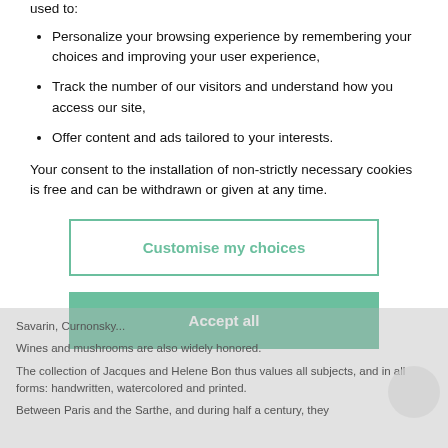used to:
Personalize your browsing experience by remembering your choices and improving your user experience,
Track the number of our visitors and understand how you access our site,
Offer content and ads tailored to your interests.
Your consent to the installation of non-strictly necessary cookies is free and can be withdrawn or given at any time.
Customise my choices
Accept all
Savarin, Curnonsky...
Wines and mushrooms are also widely honored.
The collection of Jacques and Helene Bon thus values all subjects, and in all forms: handwritten, watercolored and printed.
Between Paris and the Sarthe, and during half a century, they